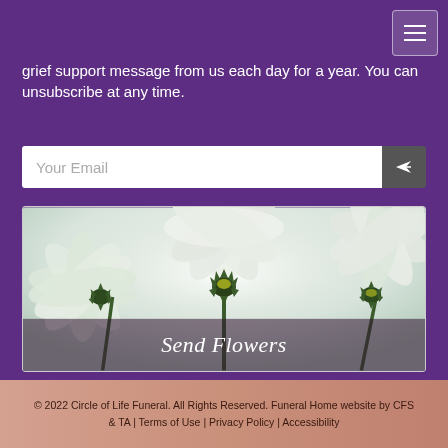grief support message from us each day for a year.  You can unsubscribe at any time.
Your Email
[Figure (photo): Close-up photo of white cosmos flowers viewed from below against bright light, showing petals and green stems. Text overlay reads: Send Flowers]
© 2022 Circle of Life Funeral. All Rights Reserved. Funeral Home website by CFS & TA | Terms of Use | Privacy Policy | Accessibility